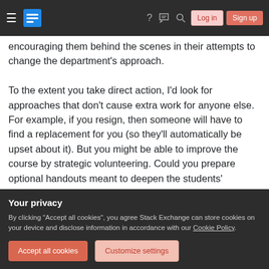Stack Exchange navigation bar with hamburger menu, logo, help, chat, search icons, Log in and Sign up buttons
encouraging them behind the scenes in their attempts to change the department's approach.

To the extent you take direct action, I'd look for approaches that don't cause extra work for anyone else. For example, if you resign, then someone will have to find a replacement for you (so they'll automatically be upset about it). But you might be able to improve the course by strategic volunteering. Could you prepare optional handouts meant to deepen the students' knowledge? Could you offer a few additional review sessions before exams?
Your privacy
By clicking "Accept all cookies", you agree Stack Exchange can store cookies on your device and disclose information in accordance with our Cookie Policy.
Accept all cookies
Customize settings
really want to help the students.